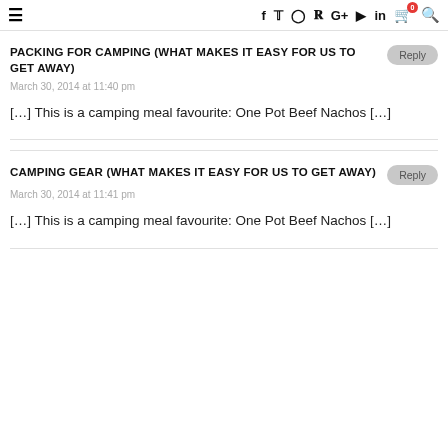≡  f  𝕥  ◎  𝒫  G+  ▶  in  🛒0  🔍
PACKING FOR CAMPING (WHAT MAKES IT EASY FOR US TO GET AWAY)
March 30, 2014 at 11:40 pm
[…] This is a camping meal favourite: One Pot Beef Nachos […]
CAMPING GEAR (WHAT MAKES IT EASY FOR US TO GET AWAY)
March 30, 2014 at 11:41 pm
[…] This is a camping meal favourite: One Pot Beef Nachos […]